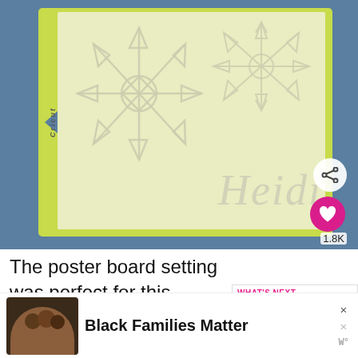[Figure (photo): A Cricut cutting mat (green/yellow border) with translucent/white shrink plastic on top showing two snowflake designs and a cursive script name 'Heidi'. The mat is placed on a blue surface. A pink heart button and share icon appear overlaid on the lower right of the photo.]
The poster board setting was perfect for this thickness of the shrink plastic, and everything cut cleanly and evenly with the deep cut b...
[Figure (infographic): WHAT'S NEXT panel with 'Easy Christmas T...' title and a thumbnail image]
[Figure (photo): Advertisement showing three smiling people in a photo thumbnail next to bold text 'Black Families Matter' with close (X) buttons]